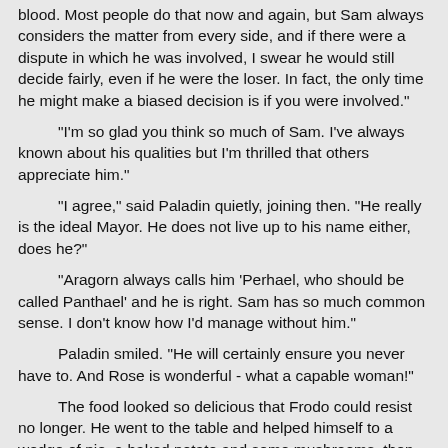blood. Most people do that now and again, but Sam always considers the matter from every side, and if there were a dispute in which he was involved, I swear he would still decide fairly, even if he were the loser. In fact, the only time he might make a biased decision is if you were involved."
"I'm so glad you think so much of Sam. I've always known about his qualities but I'm thrilled that others appreciate him."
"I agree," said Paladin quietly, joining then. "He really is the ideal Mayor. He does not live up to his name either, does he?"
"Aragorn always calls him 'Perhael, who should be called Panthael' and he is right. Sam has so much common sense. I don't know how I'd manage without him."
Paladin smiled. "He will certainly ensure you never have to. And Rose is wonderful - what a capable woman!"
The food looked so delicious that Frodo could resist no longer. He went to the table and helped himself to a wedge of pie, a baked potato and some mushrooms, then sat down to eat. Little Persimmon scrambled up and sat beside him on one side, and the Gamgee children joined her. Frodo looked at her plate and laughed.
"Just like your Aunt Pearl when she was little! What a healthy appetite, my little flower. Shall I cut it up for you?"
"Pease," she said, and reached up for a hug. He cut her food into convenient pieces and watched as she tucked in. He